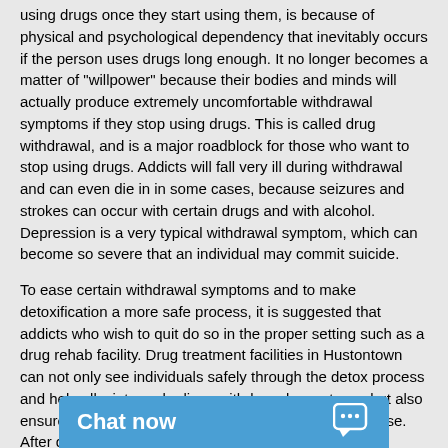using drugs once they start using them, is because of physical and psychological dependency that inevitably occurs if the person uses drugs long enough. It no longer becomes a matter of "willpower" because their bodies and minds will actually produce extremely uncomfortable withdrawal symptoms if they stop using drugs. This is called drug withdrawal, and is a major roadblock for those who want to stop using drugs. Addicts will fall very ill during withdrawal and can even die in in some cases, because seizures and strokes can occur with certain drugs and with alcohol. Depression is a very typical withdrawal symptom, which can become so severe that an individual may commit suicide.
To ease certain withdrawal symptoms and to make detoxification a more safe process, it is suggested that addicts who wish to quit do so in the proper setting such as a drug rehab facility. Drug treatment facilities in Hustontown can not only see individuals safely through the detox process and help alleviate and relieve withdrawal symptoms, but also ensure that the person doesn't relapse back into drug use. After detoxification has been accomplished, treatment professionals in Hustontown will then ensure that all underlying psychological and emotional issues tied to the individual's addiction are addressed so that they stay off of drugs once they leave the drug rehab center.
Drug Addiction and Codependency
Drug addiction and codependency go together, and a lot of family members and loved one's of addicts in Hustontown find themselves enthralled in an addicted individual's addiction. This can go so far that it reaches the level where the codependency is an addiction in itself. Addiction occasionally cause those closest to them to deve relationships, which can lead